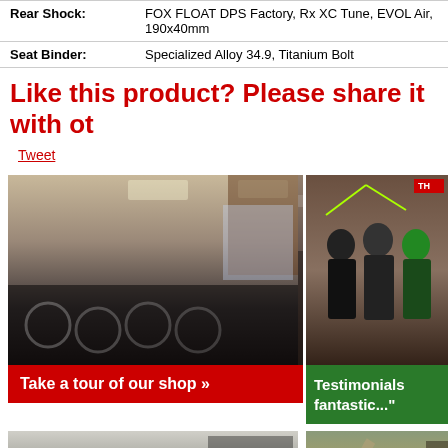| Rear Shock: | FOX FLOAT DPS Factory, Rx XC Tune, EVOL Air, 190x40mm |
| Seat Binder: | Specialized Alloy 34.9, Titanium Bolt |
Like this product? Please share it with ot
Tweet
[Figure (photo): Interior of a bike shop with many bicycles on display and accessories on walls, red banner reading 'Take a tour of our shop »']
[Figure (photo): Three staff members posing in front of a bike shop, green banner reading 'Testimonials fantastic...']
[Figure (photo): Workshop with mechanics working on bicycles]
[Figure (photo): Outdoor trail scene]